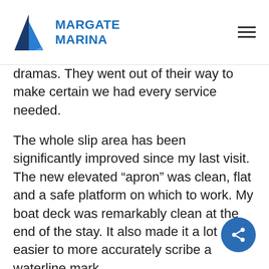MARGATE MARINA
dramas. They went out of their way to make certain we had every service needed.
The whole slip area has been significantly improved since my last visit. The new elevated “apron” was clean, flat and a safe platform on which to work. My boat deck was remarkably clean at the end of the stay. It also made it a lot easier to more accurately scribe a waterline mark.
My maintenance crew were